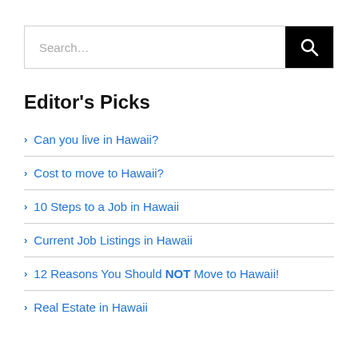[Figure (other): Search bar with text input and black search button with magnifying glass icon]
Editor's Picks
Can you live in Hawaii?
Cost to move to Hawaii?
10 Steps to a Job in Hawaii
Current Job Listings in Hawaii
12 Reasons You Should NOT Move to Hawaii!
Real Estate in Hawaii